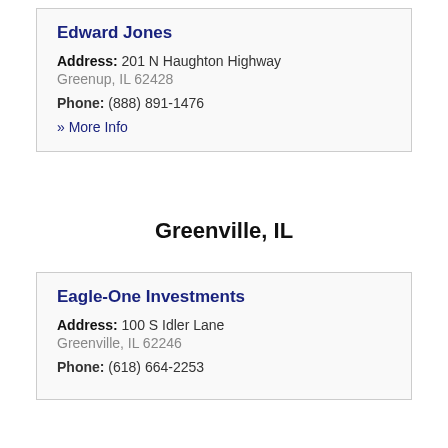Edward Jones
Address: 201 N Haughton Highway Greenup, IL 62428
Phone: (888) 891-1476
» More Info
Greenville, IL
Eagle-One Investments
Address: 100 S Idler Lane Greenville, IL 62246
Phone: (618) 664-2253